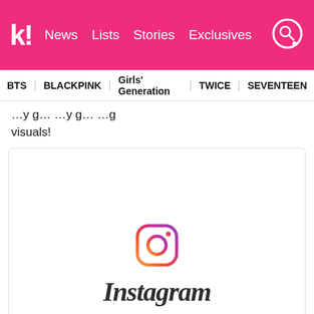Koreaboo — News | Lists | Stories | Exclusives
BTS | BLACKPINK | Girls' Generation | TWICE | SEVENTEEN
…you going …y going …g visuals!
[Figure (logo): Instagram logo with icon and wordmark]